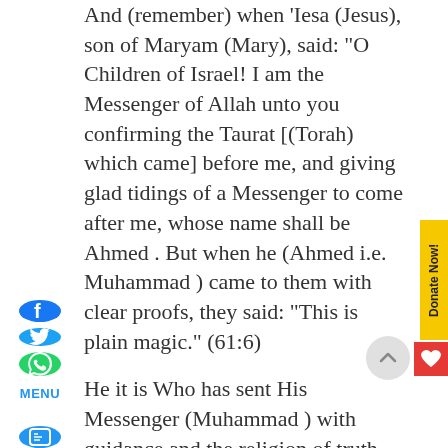And (remember) when 'Iesa (Jesus), son of Maryam (Mary), said: "O Children of Israel! I am the Messenger of Allah unto you confirming the Taurat [(Torah) which came] before me, and giving glad tidings of a Messenger to come after me, whose name shall be Ahmed . But when he (Ahmed i.e. Muhammad ) came to them with clear proofs, they said: "This is plain magic." (61:6)
He it is Who has sent His Messenger (Muhammad ) with guidance and the religion of truth (Islamic Monotheism) to make it victorious over all (other) religions even though the Mushrikun (polytheists, pagans, idolaters, and disbelievers in the Oneness of Allah and in His Messenger Muhammad ) hate (it). (61:9)